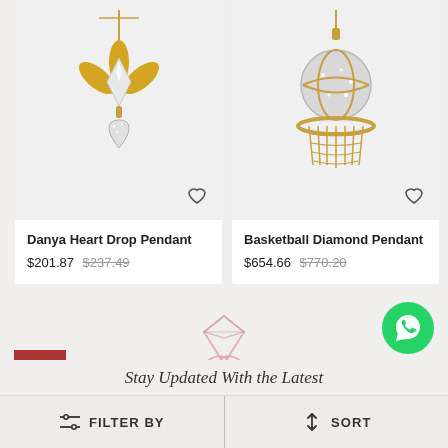[Figure (photo): Danya Heart Drop Pendant jewelry product image on light gray background with heart wishlist icon]
Danya Heart Drop Pendant
$201.87  $237.49
[Figure (photo): Basketball Diamond Pendant jewelry product image on light gray background with heart wishlist icon]
Basketball Diamond Pendant
$654.66  $770.20
[Figure (logo): Pink diamond/gemstone logo in center]
[Figure (photo): Green WhatsApp button icon on the right]
[Figure (other): Dark red scroll-to-top button with upward arrow on the left]
Stay Updated With the Latest
FILTER BY
SORT